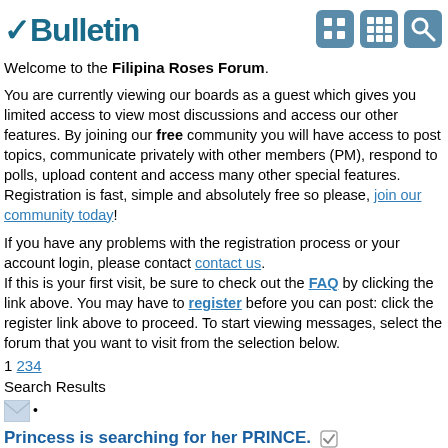vBulletin
Welcome to the Filipina Roses Forum.
You are currently viewing our boards as a guest which gives you limited access to view most discussions and access our other features. By joining our free community you will have access to post topics, communicate privately with other members (PM), respond to polls, upload content and access many other special features. Registration is fast, simple and absolutely free so please, join our community today!
If you have any problems with the registration process or your account login, please contact contact us.
If this is your first visit, be sure to check out the FAQ by clicking the link above. You may have to register before you can post: click the register link above to proceed. To start viewing messages, select the forum that you want to visit from the selection below.
1 234
Search Results
•
Princess is searching for her PRINCE.